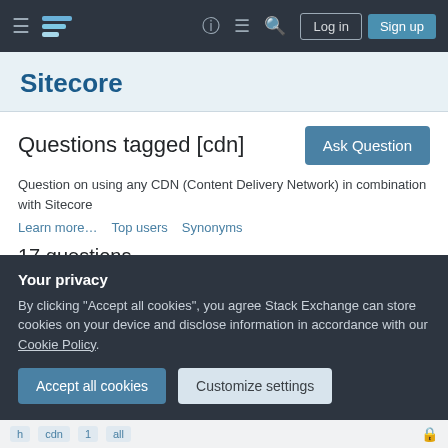Stack Exchange — Sitecore navigation bar with Log in and Sign up buttons
Sitecore
Questions tagged [cdn]
Question on using any CDN (Content Delivery Network) in combination with Sitecore
Learn more… Top users Synonyms
17 questions
Your privacy
By clicking "Accept all cookies", you agree Stack Exchange can store cookies on your device and disclose information in accordance with our Cookie Policy.
Accept all cookies   Customize settings